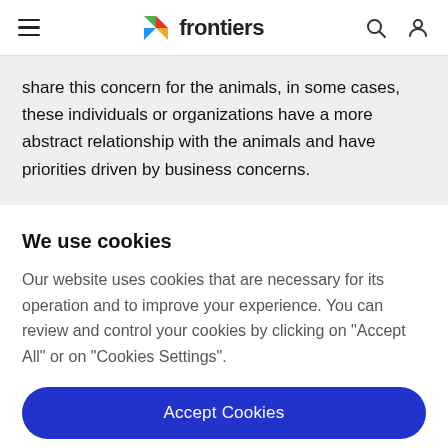frontiers
share this concern for the animals, in some cases, these individuals or organizations have a more abstract relationship with the animals and have priorities driven by business concerns.
We use cookies
Our website uses cookies that are necessary for its operation and to improve your experience. You can review and control your cookies by clicking on "Accept All" or on "Cookies Settings".
Accept Cookies
Cookies Settings